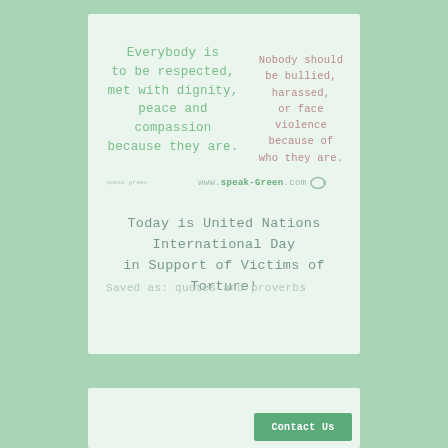Everybody is to be respected, met with dignity, peace and compassion because they are.
Nobody should be bullied, harassed, or face violence because of who they are.
www.speak-green.com
Today is United Nations International Day in Support of Victims of Torture!
Saved as: quotes and proverbs
Contact Us